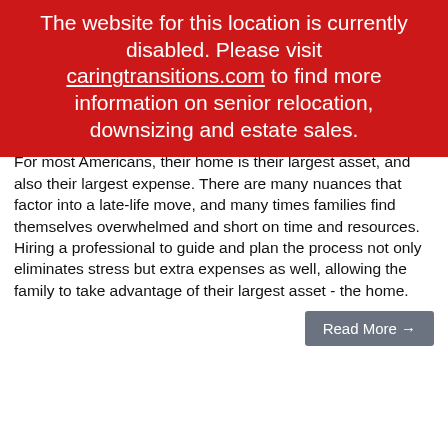The website for this location is currently disabled. Please visit caringtransitions.com to find more information on senior relocation, downsizing and estate sales.
Factors During Home Transitions
Home
Posted by Ania Scott on October 15, 2018 at 7:35 AM
During a Home Transition, there are many costs to consider.  For most Americans, their home is their largest asset, and also their largest expense. There are many nuances that factor into a late-life move, and many times families find themselves overwhelmed and short on time and resources. Hiring a professional to guide and plan the process not only eliminates stress but extra expenses as well, allowing the family to take advantage of their largest asset - the home.
Read More →